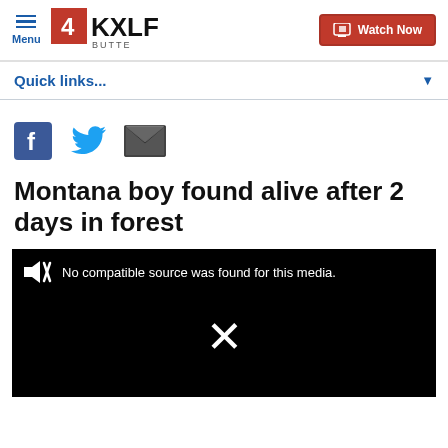Menu | 4 KXLF BUTTE | Watch Now
Quick links...
[Figure (other): Social share icons: Facebook, Twitter, Email]
Montana boy found alive after 2 days in forest
[Figure (other): Video player showing error: No compatible source was found for this media. Large X icon in center.]